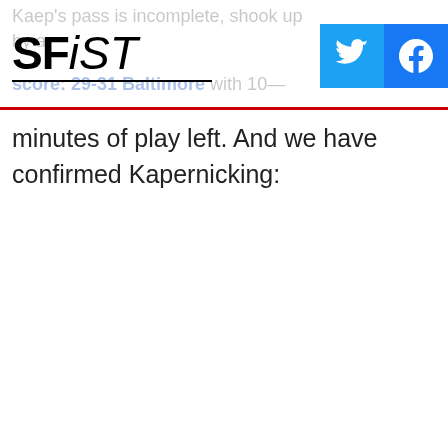SFiST
Kaep's pass is incomplete, shook up by a score: 29-31 Baltimore with 10 minutes of play left. And we have confirmed Kapernicking: